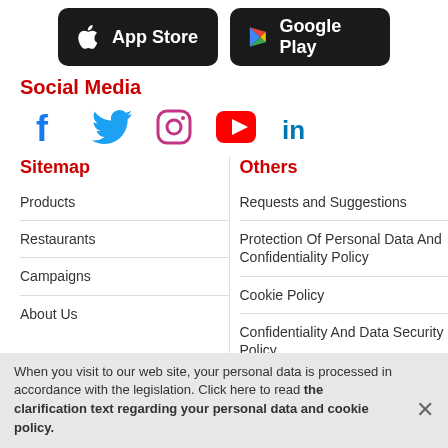[Figure (logo): App Store and Google Play download buttons]
Social Media
[Figure (illustration): Social media icons: Facebook, Twitter, Instagram, YouTube, LinkedIn]
Sitemap
Others
Products
Requests and Suggestions
Restaurants
Protection Of Personal Data And Confidentiality Policy
Campaigns
Cookie Policy
About Us
Confidentiality And Data Security Policy
When you visit to our web site, your personal data is processed in accordance with the legislation. Click here to read the clarification text regarding your personal data and cookie policy.